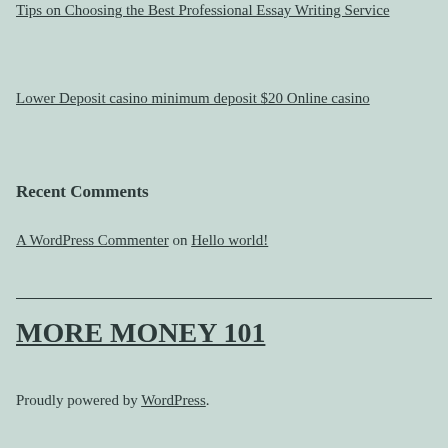Tips on Choosing the Best Professional Essay Writing Service
Lower Deposit casino minimum deposit $20 Online casino
Recent Comments
A WordPress Commenter on Hello world!
MORE MONEY 101
Proudly powered by WordPress.